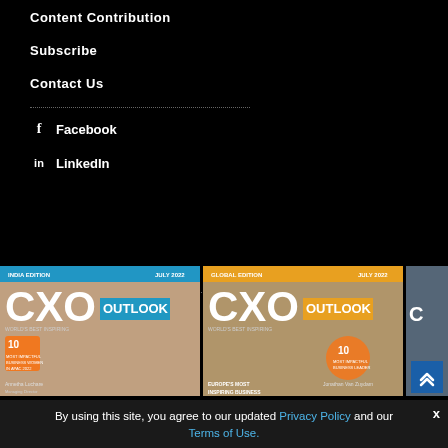Content Contribution
Subscribe
Contact Us
Facebook
LinkedIn
[Figure (photo): CXO Outlook magazine cover - India Edition, July 2022, featuring a woman with dark hair]
[Figure (photo): CXO Outlook magazine cover - Global Edition, July 2022, featuring a bald man]
[Figure (photo): Third CXO Outlook magazine cover, partially visible]
By using this site, you agree to our updated Privacy Policy and our Terms of Use.